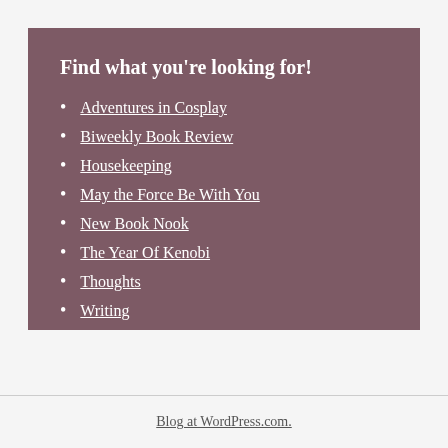Find what you're looking for!
Adventures in Cosplay
Biweekly Book Review
Housekeeping
May the Force Be With You
New Book Nook
The Year Of Kenobi
Thoughts
Writing
Blog at WordPress.com.